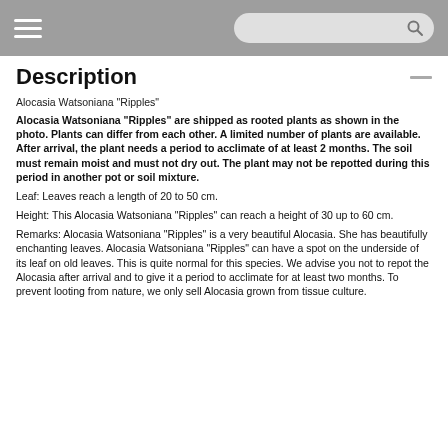[Navigation bar with hamburger menu and search]
Description
Alocasia Watsoniana "Ripples"
Alocasia Watsoniana "Ripples" are shipped as rooted plants as shown in the photo. Plants can differ from each other. A limited number of plants are available. After arrival, the plant needs a period to acclimate of at least 2 months. The soil must remain moist and must not dry out. The plant may not be repotted during this period in another pot or soil mixture.
Leaf: Leaves reach a length of 20 to 50 cm.
Height: This Alocasia Watsoniana "Ripples" can reach a height of 30 up to 60 cm.
Remarks: Alocasia Watsoniana "Ripples" is a very beautiful Alocasia. She has beautifully enchanting leaves. Alocasia Watsoniana "Ripples" can have a spot on the underside of its leaf on old leaves. This is quite normal for this species. We advise you not to repot the Alocasia after arrival and to give it a period to acclimate for at least two months. To prevent looting from nature, we only sell Alocasia grown from tissue culture.